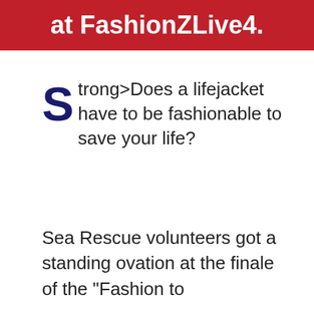at FashionZLive4.
S trong>Does a lifejacket have to be fashionable to save your life?
Sea Rescue volunteers got a standing ovation at the finale of the “Fashion to